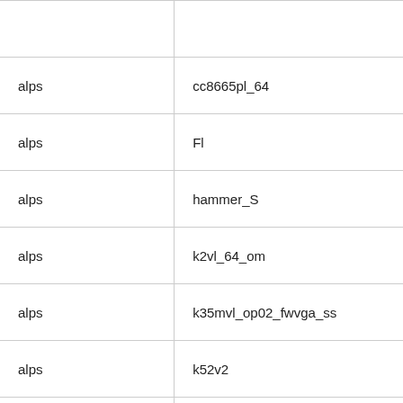| alps | cc8665pl_64 |
| alps | Fl |
| alps | hammer_S |
| alps | k2vl_64_om |
| alps | k35mvl_op02_fwvga_ss |
| alps | k52v2 |
| alps | k55vl_64_op02 |
| alps | k57vl_64_om_lwctg |
| alps | k6795vl_64 |